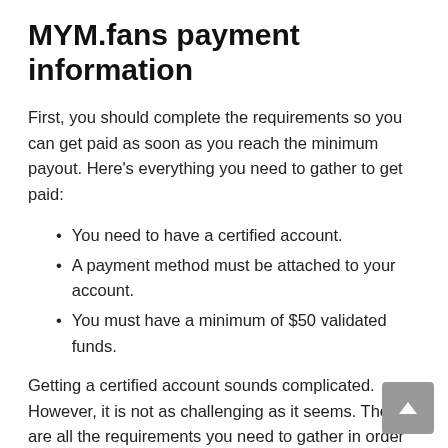MYM.fans payment information
First, you should complete the requirements so you can get paid as soon as you reach the minimum payout. Here's everything you need to gather to get paid:
You need to have a certified account.
A payment method must be attached to your account.
You must have a minimum of $50 validated funds.
Getting a certified account sounds complicated. However, it is not as challenging as it seems. These are all the requirements you need to gather in order to get your account certified: